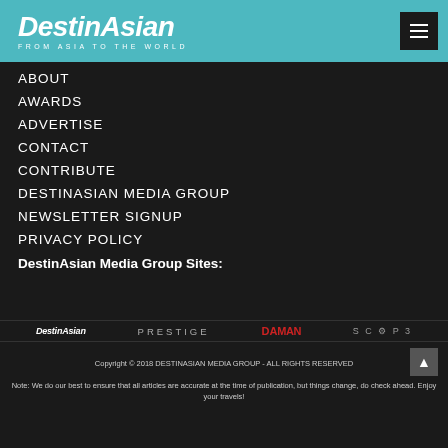DestinAsian FROM ASIA TO THE WORLD
ABOUT
AWARDS
ADVERTISE
CONTACT
CONTRIBUTE
DESTINASIAN MEDIA GROUP
NEWSLETTER SIGNUP
PRIVACY POLICY
DestinAsian Media Group Sites:
[Figure (logo): Four brand logos: DestinAsian, PRESTIGE, DAMAN, SCOP3]
Copyright © 2018 DESTINASIAN MEDIA GROUP - ALL RIGHTS RESERVED
Note: We do our best to ensure that all articles are accurate at the time of publication, but things change, do check ahead. Enjoy your travels!